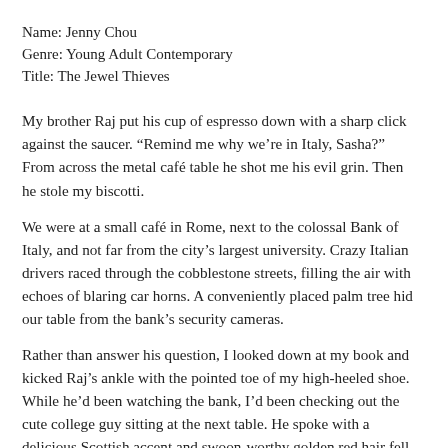Name: Jenny Chou
Genre: Young Adult Contemporary
Title: The Jewel Thieves
My brother Raj put his cup of espresso down with a sharp click against the saucer. “Remind me why we’re in Italy, Sasha?” From across the metal café table he shot me his evil grin. Then he stole my biscotti.
We were at a small café in Rome, next to the colossal Bank of Italy, and not far from the city’s largest university. Crazy Italian drivers raced through the cobblestone streets, filling the air with echoes of blaring car horns. A conveniently placed palm tree hid our table from the bank’s security cameras.
Rather than answer his question, I looked down at my book and kicked Raj’s ankle with the pointed toe of my high-heeled shoe. While he’d been watching the bank, I’d been checking out the cute college guy sitting at the next table. He spoke with a delicious Scottish accent and swoon-worthy golden red hair fell into his eyes.